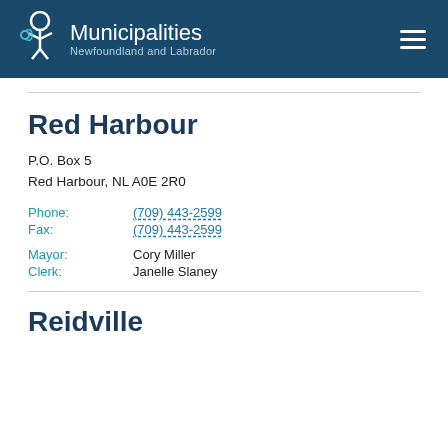Municipalities Newfoundland and Labrador
Red Harbour
P.O. Box 5
Red Harbour, NL A0E 2R0
Phone: (709) 443-2599
Fax: (709) 443-2599
Mayor: Cory Miller
Clerk: Janelle Slaney
Reidville